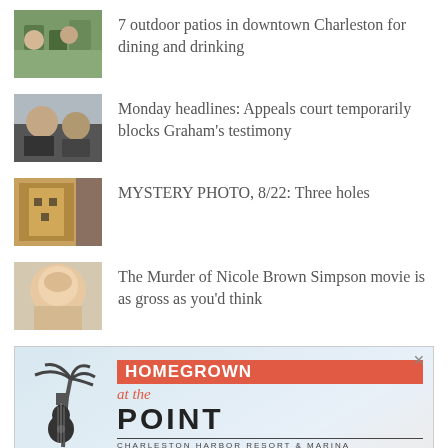7 outdoor patios in downtown Charleston for dining and drinking
Monday headlines: Appeals court temporarily blocks Graham's testimony
MYSTERY PHOTO, 8/22: Three holes
The Murder of Nicole Brown Simpson movie is as gross as you'd think
[Figure (illustration): Advertisement for Homegrown at the Point concert series at Charleston Harbor Resort & Marina. Features palm tree and guitar graphic. Text: HOMEGROWN at the POINT, CHARLESTON HARBOR RESORT & MARINA, Happy Hour concert series in the sand!, THIS WEEK: FRIDAY, AUGUST 26TH, MOTOWN THROWDOWN]